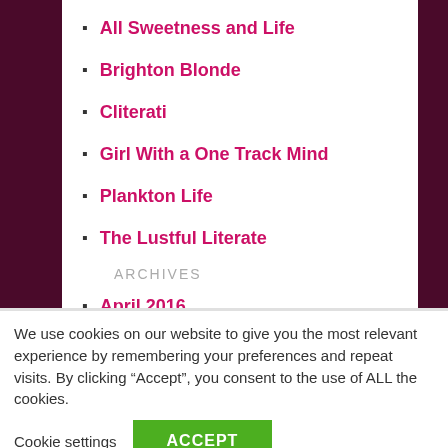All Sweetness and Life
Brighton Blonde
Cliterati
Girl With a One Track Mind
Plankton Life
The Lustful Literate
ARCHIVES
April 2016
February 2016
January 2016
November 2015
We use cookies on our website to give you the most relevant experience by remembering your preferences and repeat visits. By clicking “Accept”, you consent to the use of ALL the cookies.
Cookie settings   ACCEPT